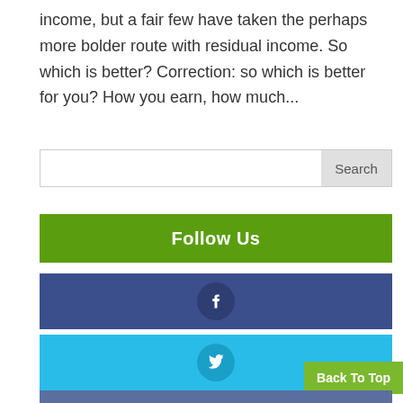income, but a fair few have taken the perhaps more bolder route with residual income. So which is better? Correction: so which is better for you? How you earn, how much...
[Figure (other): Search bar with text input and Search button]
Follow Us
[Figure (other): Facebook social media button bar with Facebook logo circle on dark blue background]
[Figure (other): Twitter social media button bar with Twitter bird logo circle on light blue background]
Back To Top